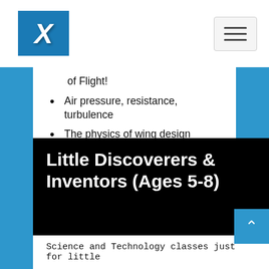Navigation bar with logo and hamburger menu
of Flight!
Air pressure, resistance, turbulence
The physics of wing design
Do experiments to discover the best propeller design
Make a jet engine!
More Info
Little Discoverers & Inventors (Ages 5-8)
Science and Technology classes just for little